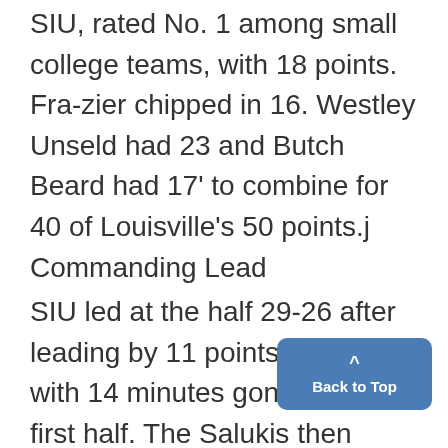SIU, rated No. 1 among small college teams, with 18 points. Frazier chipped in 16. Westley Unseld had 23 and Butch Beard had 17' to combine for 40 of Louisville's 50 points.j
Commanding Lead
SIU led at the half 29-26 after leading by 11 points, 27-16, with 14 minutes gone in the first half. The Salukis then went without a basket until Creston Whitake sank a jump shot at the half-time horn